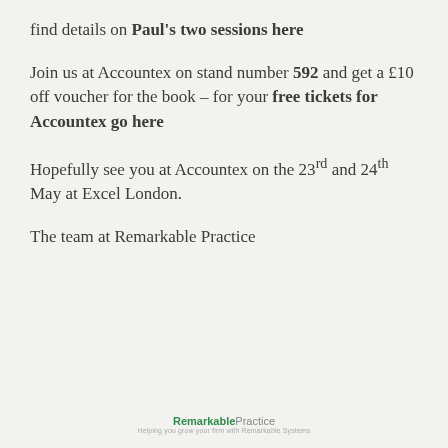find details on Paul's two sessions here
Join us at Accountex on stand number 592 and get a £10 off voucher for the book – for your free tickets for Accountex go here
Hopefully see you at Accountex on the 23rd and 24th May at Excel London.
The team at Remarkable Practice
[Figure (logo): RemarkablePractice logo with tagline]